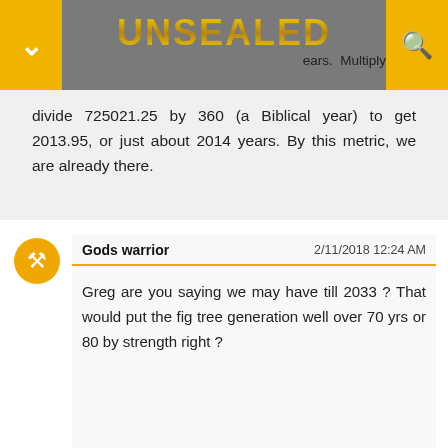UNSEALED
divide 725021.25 by 360 (a Biblical year) to get 2013.95, or just about 2014 years. By this metric, we are already there.
Gods warrior
2/11/2018 12:24 AM
Greg are you saying we may have till 2033 ? That would put the fig tree generation well over 70 yrs or 80 by strength right ?
Ben Gillis
2/11/2018 9:51 PM
That reference would be none other than the